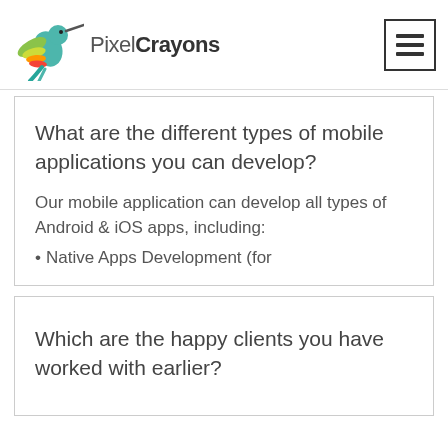PixelCrayons
What are the different types of mobile applications you can develop?
Our mobile application can develop all types of Android & iOS apps, including:
Native Apps Development (for
Which are the happy clients you have worked with earlier?